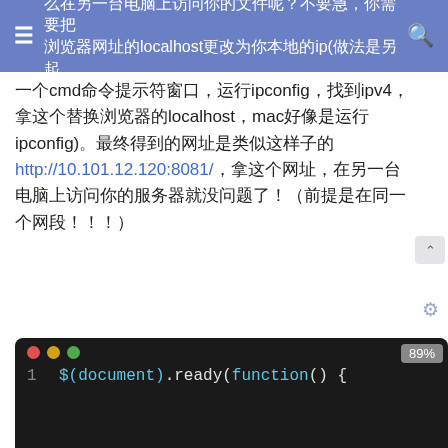≡  么在另一台电脑上访问你的文件呢？不要急，你需要把浏览器网址的localhost更改为你本地的ip(做法是另起一个cmd命令提示符窗口，运行ipconfig，找到ipv4，  🔍
一个cmd命令提示符窗口，运行ipconfig，找到ipv4，拿这个替换浏览器的localhost，mac好像是运行ipconfig)。最终得到的网址是类似这样子的 http://10.101.12.120:8081/，拿这个网址，在另一台电脑上访问你的服务器就没问题了！（前提是在同一个网段！！！）
还有一个问题就是进行访问的时候，可以访问到文件夹中 file\_server.js 文件，如果限制某些文件的访问，可以在外链的 index.js 中写入一下代码(已经引入了 jQuery 文件，支持 jQuery 语法)
[Figure (screenshot): Dark-themed code editor screenshot showing line 1 with code: $(document).ready(function () {, with traffic-light window buttons and 89% zoom indicator]